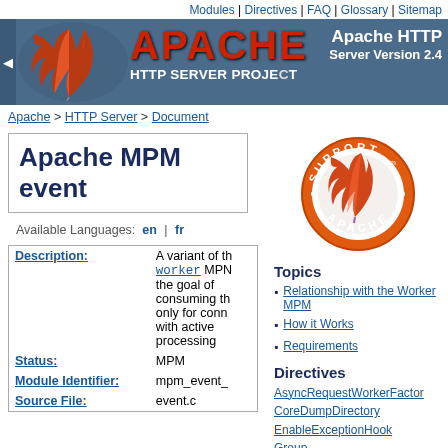Modules | Directives | FAQ | Glossary | Sitemap
[Figure (logo): Apache HTTP Server Project banner with feather logo, red APACHE text, and version info]
Apache > HTTP Server > Document
Apache MPM event
Available Languages: en | fr
| Field | Value |
| --- | --- |
| Description: | A variant of the worker MPM with the goal of consuming threads only for connections with active processing |
| Status: | MPM |
| Module Identifier: | mpm_event_ |
| Source File: | event.c |
[Figure (logo): Support Apache circular badge with feather logo]
Topics
Relationship with the Worker MPM
How it Works
Requirements
Directives
AsyncRequestWorkerFactor
CoreDumpDirectory
EnableExceptionHook
Group
Listen